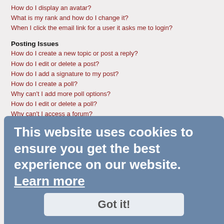How do I display an avatar?
What is my rank and how do I change it?
When I click the email link for a user it asks me to login?
Posting Issues
How do I create a new topic or post a reply?
How do I edit or delete a post?
How do I add a signature to my post?
How do I create a poll?
Why can't I add more poll options?
How do I edit or delete a poll?
Why can't I access a forum?
Why can't I add attachments?
Why did I receive a warning?
How can I report posts to a moderator?
What is the “Save” button for in topic posting?
Why does my post need to be approved?
How do I bump my topic?
Formatting and Topic Types
What is BBCode?
Can I use HTML?
What are Smilies?
Can I post images?
What are global announcements?
What are announcements?
What are sticky topics?
What are locked topics?
What are topic icons?